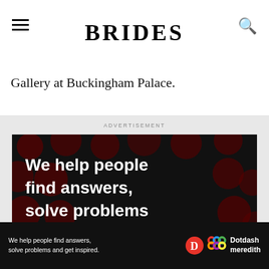BRIDES
Gallery at Buckingham Palace.
ADVERTISEMENT
[Figure (other): Advertisement banner with dark background and red dot pattern. Text reads: 'We help people find answers, solve problems and get inspired.' with 'LEARN MORE' button and Dotdash Meredith logos.]
[Figure (other): Bottom sticky advertisement bar. Text reads: 'We help people find answers, solve problems and get inspired.' with Dotdash Meredith logo.]